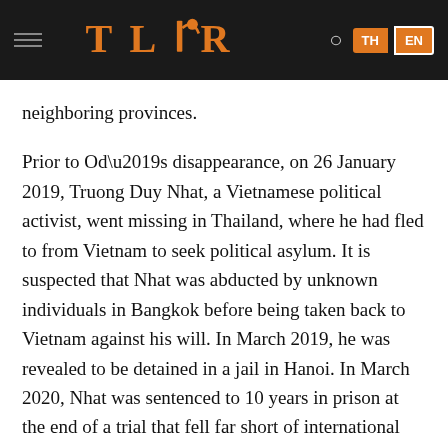TL|R  TH  EN
neighboring provinces.
Prior to Od’s disappearance, on 26 January 2019, Truong Duy Nhat, a Vietnamese political activist, went missing in Thailand, where he had fled to from Vietnam to seek political asylum. It is suspected that Nhat was abducted by unknown individuals in Bangkok before being taken back to Vietnam against his will. In March 2019, he was revealed to be detained in a jail in Hanoi. In March 2020, Nhat was sentenced to 10 years in prison at the end of a trial that fell far short of international standards.